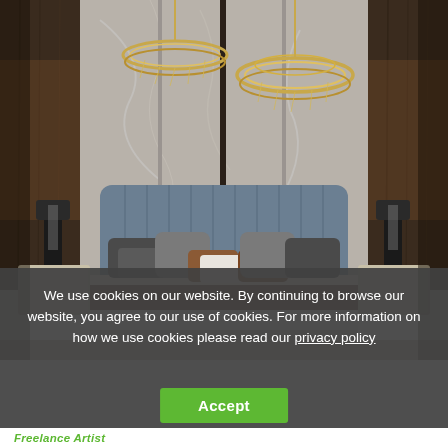[Figure (photo): Luxury bedroom interior with a blue upholstered bed, multiple decorative pillows, gold ring chandeliers hanging from the ceiling, dark wood wall panels flanking a marble/stone feature wall, and matching bedside tables with black lamps.]
We use cookies on our website. By continuing to browse our website, you agree to our use of cookies. For more information on how we use cookies please read our privacy policy
Accept
Freelance Artist